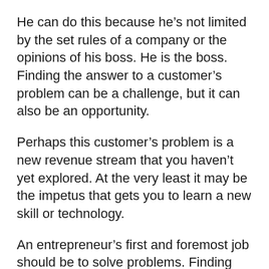He can do this because he’s not limited by the set rules of a company or the opinions of his boss. He is the boss. Finding the answer to a customer’s problem can be a challenge, but it can also be an opportunity.
Perhaps this customer’s problem is a new revenue stream that you haven’t yet explored. At the very least it may be the impetus that gets you to learn a new skill or technology.
An entrepreneur’s first and foremost job should be to solve problems. Finding problems means finding a need to be met. That’s how we make a profit. Being a great entrepreneur means adding value to the solutions we provide.
Someone might find a need in the marketplace and